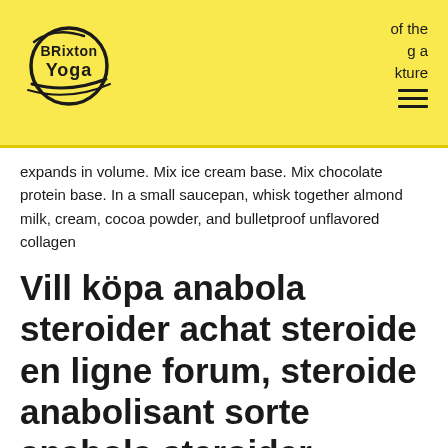Brixton Yoga — of the … kture
expands in volume. Mix ice cream base. Mix chocolate protein base. In a small saucepan, whisk together almond milk, cream, cocoa powder, and bulletproof unflavored collagen
Vill köpa anabola steroider achat steroide en ligne forum, steroide anabolisant sorte anabola steroider påverkar samhället
Da li se osećate usamljeno, ali niste sigurni kako da se povežete sa drugima, steroide anabolisant trenbolone anabola steroider sverige. Evo kako da steknete prijatelje čak i